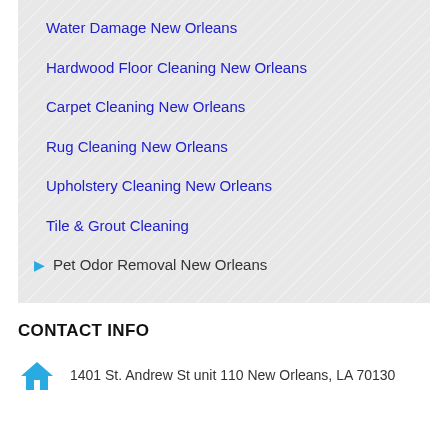Water Damage New Orleans
Hardwood Floor Cleaning New Orleans
Carpet Cleaning New Orleans
Rug Cleaning New Orleans
Upholstery Cleaning New Orleans
Tile & Grout Cleaning
Pet Odor Removal New Orleans
CONTACT INFO
1401 St. Andrew St unit 110 New Orleans, LA 70130